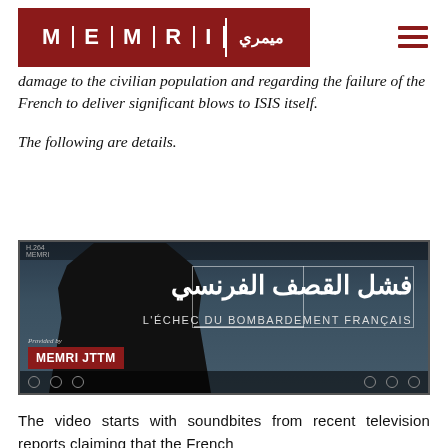[Figure (logo): MEMRI logo with red background showing letters M E M R I separated by white vertical lines, with Arabic text on the right side. Hamburger menu icon on the right.]
damage to the civilian population and regarding the failure of the French to deliver significant blows to ISIS itself.
The following are details.
[Figure (screenshot): Video thumbnail showing a masked figure on the left, Arabic text reading 'فشل القصف الفرنسي' and French subtitle 'L'ECHEC DU BOMBARDEMENT FRANÇAIS'. MEMRI JTTM watermark in red box at bottom left.]
The video starts with soundbites from recent television reports claiming that the French